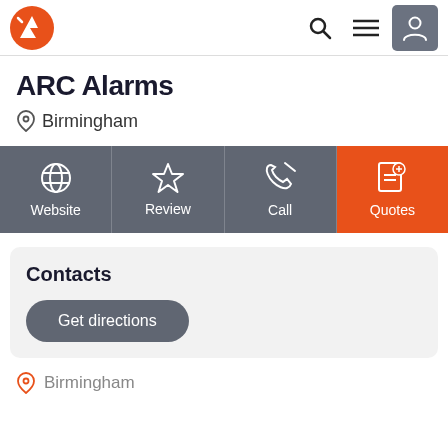ARC Alarms - navigation header with logo, search, menu, and user icons
ARC Alarms
Birmingham
[Figure (infographic): Action button bar with four buttons: Website (globe icon), Review (star icon), Call (phone icon), Quotes (document icon, orange background)]
Contacts
Get directions
Birmingham